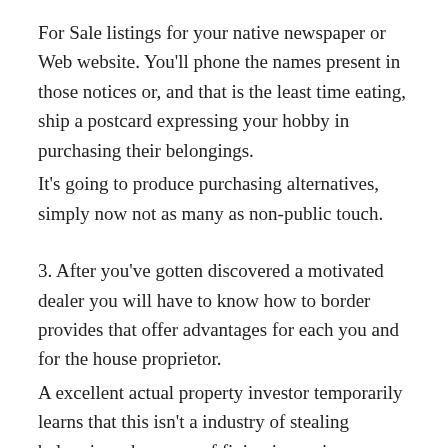For Sale listings for your native newspaper or Web website. You'll phone the names present in those notices or, and that is the least time eating, ship a postcard expressing your hobby in purchasing their belongings.
It's going to produce purchasing alternatives, simply now not as many as non-public touch.
3. After you've gotten discovered a motivated dealer you will have to know how to border provides that offer advantages for each you and for the house proprietor.
A excellent actual property investor temporarily learns that this isn't a industry of stealing belongings, however of fixing issues in some way that advantages the vendor.
The house proprietor is in a good spot of a few type and you'll be able to save them from public embarrassment and, normally,